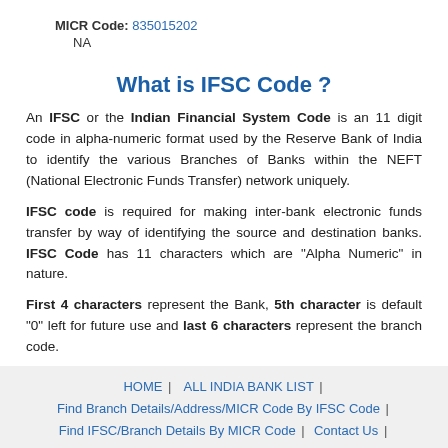MICR Code: 835015202
NA
What is IFSC Code ?
An IFSC or the Indian Financial System Code is an 11 digit code in alpha-numeric format used by the Reserve Bank of India to identify the various Branches of Banks within the NEFT (National Electronic Funds Transfer) network uniquely.
IFSC code is required for making inter-bank electronic funds transfer by way of identifying the source and destination banks. IFSC Code has 11 characters which are "Alpha Numeric" in nature.
First 4 characters represent the Bank, 5th character is default "0" left for future use and last 6 characters represent the branch code.
HOME | ALL INDIA BANK LIST | Find Branch Details/Address/MICR Code By IFSC Code | Find IFSC/Branch Details By MICR Code | Contact Us |